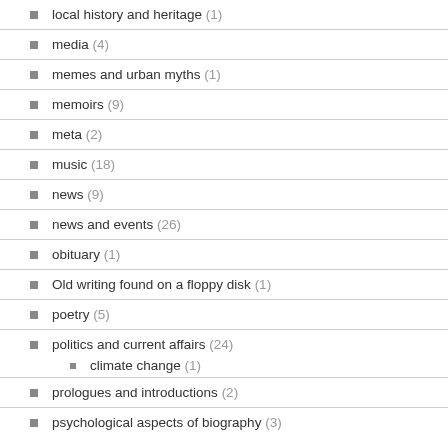local history and heritage (1)
media (4)
memes and urban myths (1)
memoirs (9)
meta (2)
music (18)
news (9)
news and events (26)
obituary (1)
Old writing found on a floppy disk (1)
poetry (5)
politics and current affairs (24)
climate change (1)
prologues and introductions (2)
psychological aspects of biography (3)